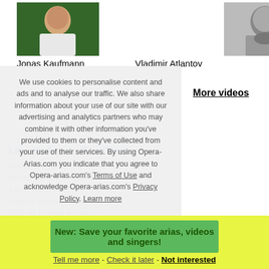[Figure (photo): Photo of Jonas Kaufmann, a man in a white tank top against a green background]
Jonas Kaufmann
[Figure (photo): Photo of Vladimir Atlantov, black and white image of a man singing]
Vladimir Atlantov
More videos
We use cookies to personalise content and ads and to analyse our traffic. We also share information about your use of our site with our advertising and analytics partners who may combine it with other information you've provided to them or they've collected from your use of their services. By using Opera-Arias.com you indicate that you agree to Opera-arias.com's Terms of Use and acknowledge Opera-arias.com's Privacy Policy. Learn more
Libretto/Lyrics/Text/Testo:
Recitar! Mentre preso dal delirio,
non so più quel che dico,
e quel che faccio!
Eppure è d'uopo,sforzati!
Bah! sei tu forse un uom?
Ta sei Pagliaccio!
New: Save your favorite arias, videos and singers!
Tell me more - Check it later - Not interested